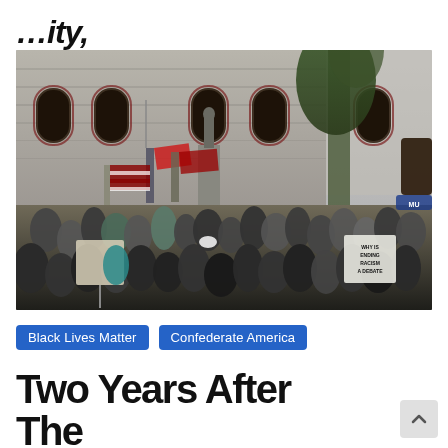…ity,
[Figure (photo): A crowd gathered outside a historic stone courthouse building. People are holding various flags including Confederate and American flags. A Confederate soldier statue stands on a pedestal above the crowd. Some protesters hold signs, including one reading 'WHY IS ENDING RACISM A DEBATE'.]
Black Lives Matter
Confederate America
Two Years After The